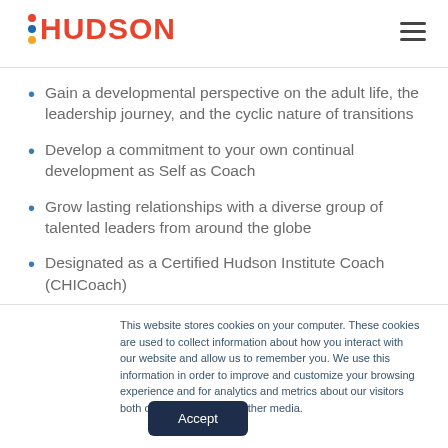HUDSON
Gain a developmental perspective on the adult life, the leadership journey, and the cyclic nature of transitions
Develop a commitment to your own continual development as Self as Coach
Grow lasting relationships with a diverse group of talented leaders from around the globe
Designated as a Certified Hudson Institute Coach (CHICoach)
This website stores cookies on your computer. These cookies are used to collect information about how you interact with our website and allow us to remember you. We use this information in order to improve and customize your browsing experience and for analytics and metrics about our visitors both on this website and other media.
Accept